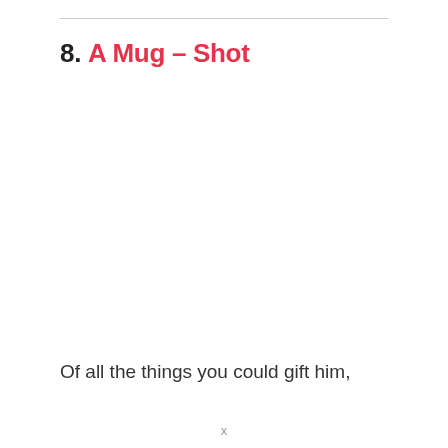8. A Mug – Shot
Of all the things you could gift him,
…
x